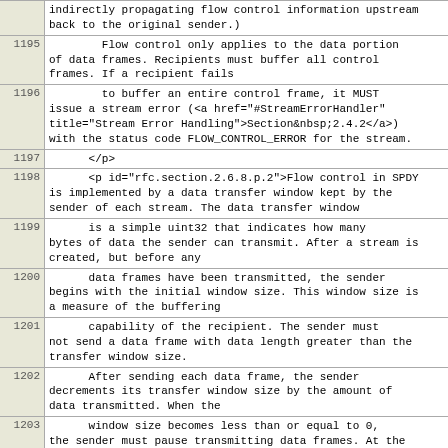| Line | Content |
| --- | --- |
|  | indirectly propagating flow control information upstream
back to the original sender.) |
| 1195 |         Flow control only applies to the data portion
of data frames. Recipients must buffer all control
frames. If a recipient fails |
| 1196 |         to buffer an entire control frame, it MUST
issue a stream error (<a href="#StreamErrorHandler"
title="Stream Error Handling">Section&nbsp;2.4.2</a>)
with the status code FLOW_CONTROL_ERROR for the stream. |
| 1197 |       </p> |
| 1198 |       <p id="rfc.section.2.6.8.p.2">Flow control in SPDY
is implemented by a data transfer window kept by the
sender of each stream. The data transfer window |
| 1199 |       is a simple uint32 that indicates how many
bytes of data the sender can transmit. After a stream is
created, but before any |
| 1200 |       data frames have been transmitted, the sender
begins with the initial window size. This window size is
a measure of the buffering |
| 1201 |       capability of the recipient. The sender must
not send a data frame with data length greater than the
transfer window size. |
| 1202 |       After sending each data frame, the sender
decrements its transfer window size by the amount of
data transmitted. When the |
| 1203 |       window size becomes less than or equal to 0,
the sender must pause transmitting data frames. At the
other end of the stream, |
| 1204 |       the recipient sends a WINDOW_UPDATE control
back to notify the sender that it has consumed some data
and freed up buffer space |
| 1205 |       to receive more data. |
| 1206 |       </p> |
| 1207 |       <div id="rfc.figure.u.10"></div> <pre>+----------
-------------------------+ |
| 1208 | |1|  version  |         0         | |